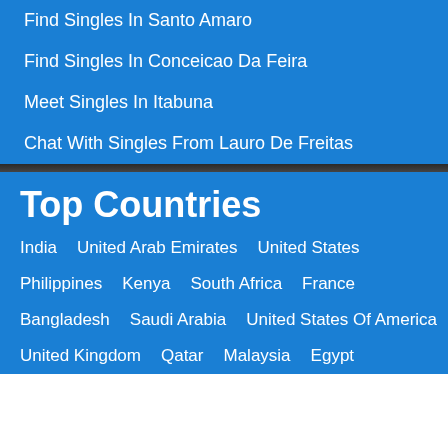Find Singles In Santo Amaro
Find Singles In Conceicao Da Feira
Meet Singles In Itabuna
Chat With Singles From Lauro De Freitas
Top Countries
India   United Arab Emirates   United States
Philippines   Kenya   South Africa   France
Bangladesh   Saudi Arabia   United States Of America
United Kingdom   Qatar   Malaysia   Egypt